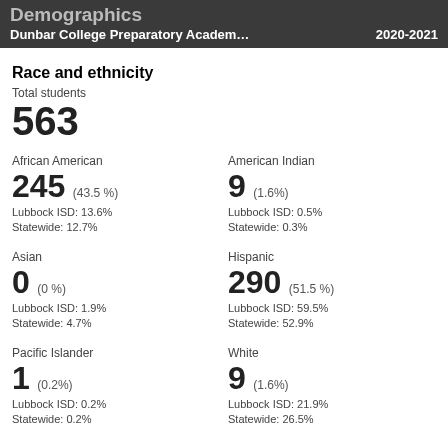Demographics
Dunbar College Preparatory Academ…	2020-2021
Race and ethnicity
Total students
563
African American
245 (43.5%)
Lubbock ISD: 13.6%
Statewide: 12.7%
American Indian
9 (1.6%)
Lubbock ISD: 0.5%
Statewide: 0.3%
Asian
0 (0%)
Lubbock ISD: 1.9%
Statewide: 4.7%
Hispanic
290 (51.5%)
Lubbock ISD: 59.5%
Statewide: 52.9%
Pacific Islander
1 (0.2%)
Lubbock ISD: 0.2%
Statewide: 0.2%
White
9 (1.6%)
Lubbock ISD: 21.9%
Statewide: 26.5%